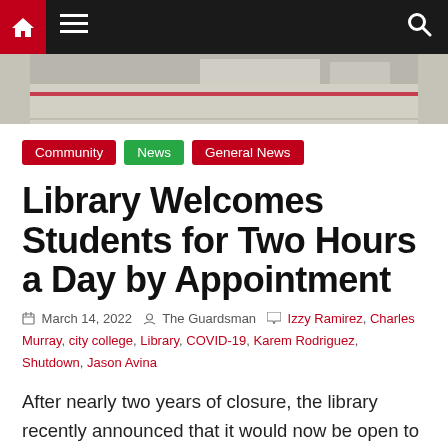Navigation bar with home, menu, and search icons
[Figure (photo): Outdoor campus photo showing a parking lot/road area with a red stripe, viewed from above]
Community  News  General News
Library Welcomes Students for Two Hours a Day by Appointment
March 14, 2022  The Guardsman  Izzy Ramirez, Charles Murray, city college, Library, COVID-19, Karem Rodriguez, Shutdown, Jason Avina
After nearly two years of closure, the library recently announced that it would now be open to in-person usage but restrictions apply. Students can make a maximum of two appointments per day,